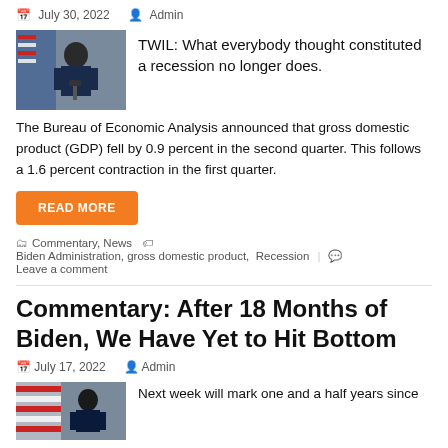July 30, 2022  Admin
TWIL: What everybody thought constituted a recession no longer does.
[Figure (photo): Photo of a person speaking at a podium with American flags in the background]
The Bureau of Economic Analysis announced that gross domestic product (GDP) fell by 0.9 percent in the second quarter. This follows a 1.6 percent contraction in the first quarter.
READ MORE
Commentary, News  Biden Administration, gross domestic product, Recession  Leave a comment
Commentary: After 18 Months of Biden, We Have Yet to Hit Bottom
July 17, 2022  Admin
[Figure (photo): Photo of a person with American flags]
Next week will mark one and a half years since